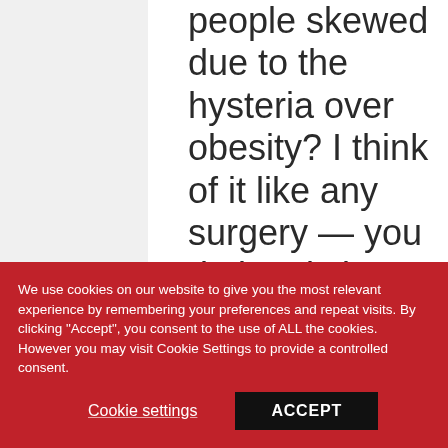people skewed due to the hysteria over obesity? I think of it like any surgery — you do it only in severe
We use cookies on our website to give you the most relevant experience by remembering your preferences and repeat visits. By clicking "Accept", you consent to the use of ALL the cookies. However you may visit Cookie Settings to provide a controlled consent.
Cookie settings
ACCEPT